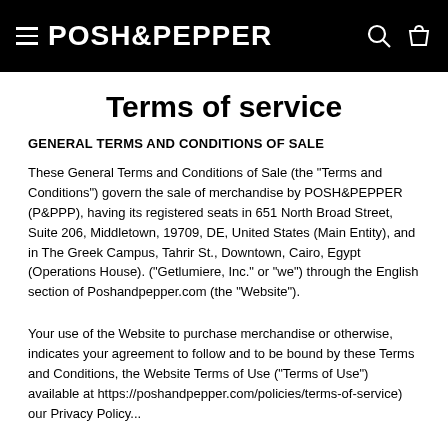POSH&PEPPER
Terms of service
GENERAL TERMS AND CONDITIONS OF SALE
These General Terms and Conditions of Sale (the "Terms and Conditions") govern the sale of merchandise by POSH&PEPPER (P&PPP), having its registered seats in 651 North Broad Street, Suite 206, Middletown, 19709, DE, United States (Main Entity), and in The Greek Campus, Tahrir St., Downtown, Cairo, Egypt (Operations House). ("Getlumiere, Inc." or "we") through the English section of Poshandpepper.com (the "Website").
Your use of the Website to purchase merchandise or otherwise, indicates your agreement to follow and to be bound by these Terms and Conditions, the Website Terms of Use ("Terms of Use") available at https://poshandpepper.com/policies/terms-of-service) our Privacy Policy...